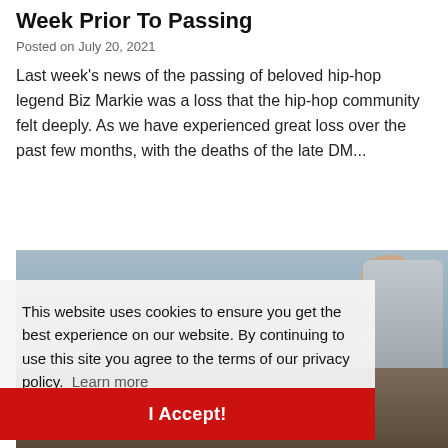Week Prior To Passing
Posted on July 20, 2021
Last week's news of the passing of beloved hip-hop legend Biz Markie was a loss that the hip-hop community felt deeply. As we have experienced great loss over the past few months, with the deaths of the late DM...
[Figure (photo): Crowd of people outdoors, someone waving their hand, people in hard hats visible at right]
This website uses cookies to ensure you get the best experience on our website. By continuing to use this site you agree to the terms of our privacy policy.  Learn more
I Accept!